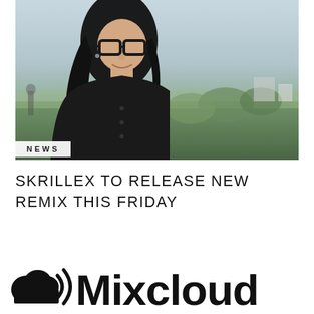[Figure (photo): Photo of Skrillex (DJ/musician) with long black hair, black-rimmed glasses, black jacket, smiling, outdoors with green vegetation and overcast sky in background]
NEWS
SKRILLEX TO RELEASE NEW REMIX THIS FRIDAY
[Figure (logo): Mixcloud logo — cloud icon with sound waves followed by the word Mixcloud in bold black text]